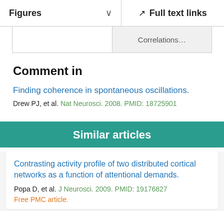Figures  ∨    Full text links
Correlations…
Comment in
Finding coherence in spontaneous oscillations.
Drew PJ, et al. Nat Neurosci. 2008. PMID: 18725901
Similar articles
Contrasting activity profile of two distributed cortical networks as a function of attentional demands.
Popa D, et al. J Neurosci. 2009. PMID: 19176827
Free PMC article.